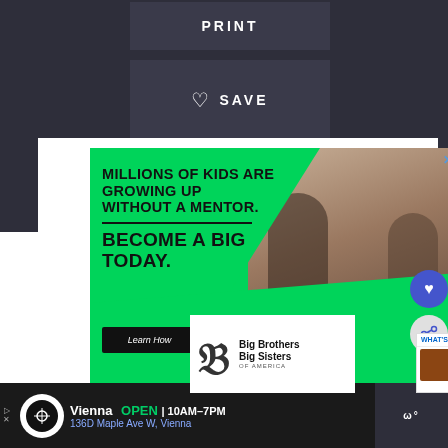[Figure (screenshot): UI button area with dark background showing PRINT button at top]
PRINT
♡  SAVE
[Figure (photo): Advertisement for Big Brothers Big Sisters showing mentor with child and text: MILLIONS OF KIDS ARE GROWING UP WITHOUT A MENTOR. BECOME A BIG TODAY. Learn How]
MILLIONS OF KIDS ARE GROWING UP WITHOUT A MENTOR.
BECOME A BIG TODAY.
Learn How
Big Brothers Big Sisters OF AMERICA
WHAT'S NEXT → Hot Chocolate Cookies (Fr...
Vienna  OPEN | 10AM–7PM
136D Maple Ave W, Vienna